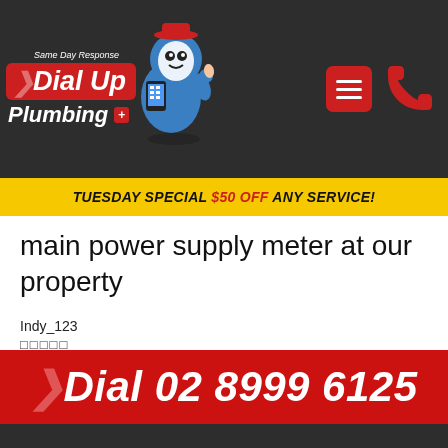Dial Up Plumbing — Same Day Response
TUESDAY SPECIAL $50 OFF ANY SERVICE!
main power supply meter at our property
Indy_123
⭐⭐⭐⭐⭐
Dial 02 8999 6125